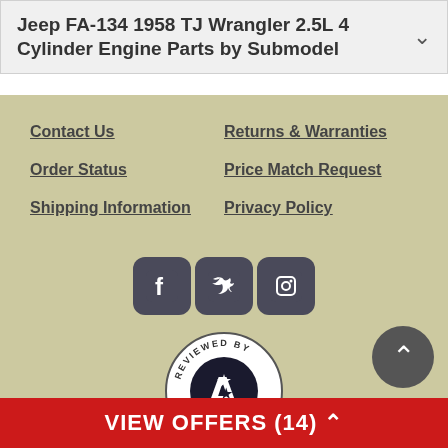Jeep FA-134 1958 TJ Wrangler 2.5L 4 Cylinder Engine Parts by Submodel
Contact Us
Returns & Warranties
Order Status
Price Match Request
Shipping Information
Privacy Policy
[Figure (logo): Social media icons: Facebook, Twitter, Instagram]
[Figure (logo): Reviewed by Accessible360 badge]
Copyright © 2023 Autoplicity. All Rights Reserved.
VIEW OFFERS (14)